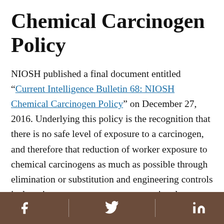Chemical Carcinogen Policy
NIOSH published a final document entitled “Current Intelligence Bulletin 68: NIOSH Chemical Carcinogen Policy” on December 27, 2016. Underlying this policy is the recognition that there is no safe level of exposure to a carcinogen, and therefore that reduction of worker exposure to chemical carcinogens as much as possible through elimination or substitution and engineering controls is the primary way to prevent occupational cancer. Accordingly, this policy no longer uses the term recommended exposure limit (REL) for chemical carcinogens; rather NIOSH will only recommend an
Facebook | Twitter | LinkedIn